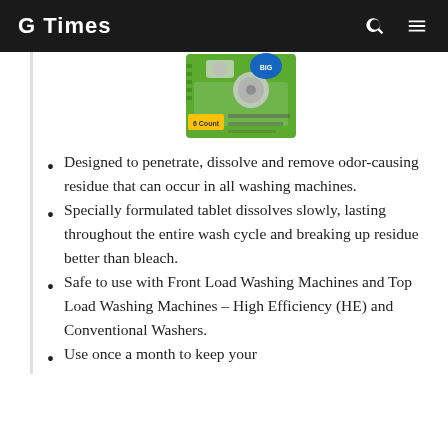G Times
[Figure (photo): Product image of a green box of washing machine cleaner tablets, showing 6 tablets, with a drum washer graphic on the front.]
Designed to penetrate, dissolve and remove odor-causing residue that can occur in all washing machines.
Specially formulated tablet dissolves slowly, lasting throughout the entire wash cycle and breaking up residue better than bleach.
Safe to use with Front Load Washing Machines and Top Load Washing Machines – High Efficiency (HE) and Conventional Washers.
Use once a month to keep your